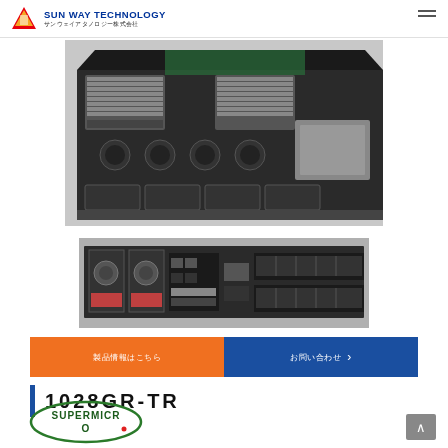SUN WAY TECHNOLOGY サンウェイアタノロジー株式会社
[Figure (photo): Top-down angled view of a 1U rack server (Supermicro 1028GR-TR) showing internal components including heatsinks, fans, and drive bays]
[Figure (photo): Rear panel view of a 1U rack server showing power supplies, I/O ports, fan modules, and expansion slots]
製品情報はこちら
お問い合わせ
1028GR-TR
[Figure (logo): Supermicro logo — green oval with SUPERMICR text and red dot]